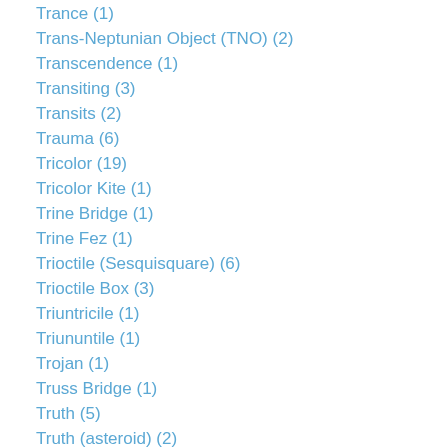Trance (1)
Trans-Neptunian Object (TNO) (2)
Transcendence (1)
Transiting (3)
Transits (2)
Trauma (6)
Tricolor (19)
Tricolor Kite (1)
Trine Bridge (1)
Trine Fez (1)
Trioctile (Sesquisquare) (6)
Trioctile Box (3)
Triuntricile (1)
Triununtile (1)
Trojan (1)
Truss Bridge (1)
Truth (5)
Truth (asteroid) (2)
Twelfth Harmonic (24)
Twentieth Harmonic (Duodecile) (4)